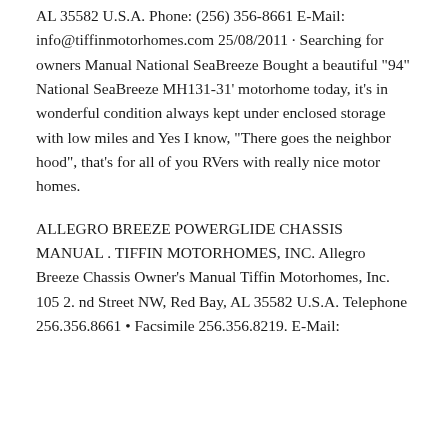AL 35582 U.S.A. Phone: (256) 356-8661 E-Mail: info@tiffinmotorhomes.com 25/08/2011 · Searching for owners Manual National SeaBreeze Bought a beautiful "94" National SeaBreeze MH131-31' motorhome today, it's in wonderful condition always kept under enclosed storage with low miles and Yes I know, "There goes the neighbor hood", that's for all of you RVers with really nice motor homes.
ALLEGRO BREEZE POWERGLIDE CHASSIS MANUAL . TIFFIN MOTORHOMES, INC. Allegro Breeze Chassis Owner's Manual Tiffin Motorhomes, Inc. 105 2. nd Street NW, Red Bay, AL 35582 U.S.A. Telephone 256.356.8661 • Facsimile 256.356.8219. E-Mail: